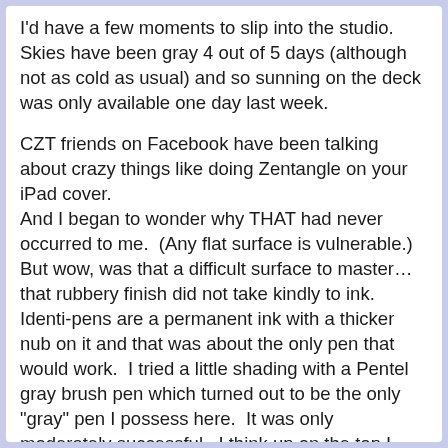I'd have a few moments to slip into the studio. Skies have been gray 4 out of 5 days (although not as cold as usual) and so sunning on the deck was only available one day last week.
CZT friends on Facebook have been talking about crazy things like doing Zentangle on your iPad cover.
And I began to wonder why THAT had never occurred to me. (Any flat surface is vulnerable.)
But wow, was that a difficult surface to master…that rubbery finish did not take kindly to ink. Identi-pens are a permanent ink with a thicker nub on it and that was about the only pen that would work. I tried a little shading with a Pentel gray brush pen which turned out to be the only "gray" pen I possess here. It was only moderately successful. I think up on the top I may do some lettering later.